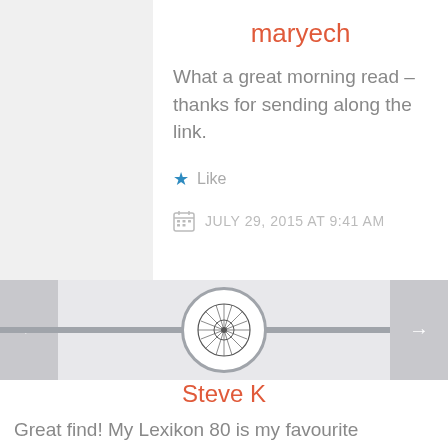maryech
What a great morning read – thanks for sending along the link.
★ Like
JULY 29, 2015 AT 9:41 AM
[Figure (illustration): Circular ornamental wheel/medallion divider with navigation arrows on left and right]
Steve K
Great find! My Lexikon 80 is my favourite typewriter to use and was not surprisingly the most popular typewriter during a “hands-on” typewriter exhibition I